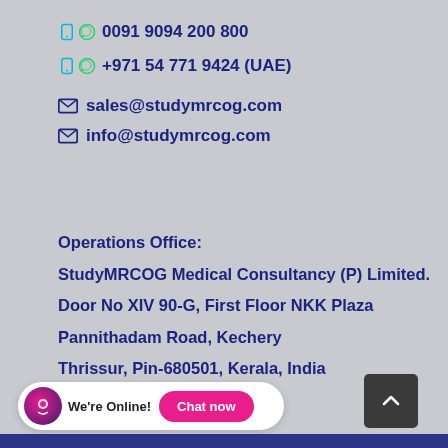0091 9094 200 800
+971 54 771 9424 (UAE)
sales@studymrcog.com
info@studymrcog.com
Operations Office:
StudyMRCOG Medical Consultancy (P) Limited.
Door No XIV 90-G, First Floor NKK Plaza
Pannithadam Road, Kechery
Thrissur, Pin-680501, Kerala, India
Phone: +91 4885 299 581
[Figure (infographic): Chat widget with logo, 'We're Online!' label, and 'Chat now' pink button]
[Figure (infographic): Dark grey scroll-to-top button with upward chevron arrow]